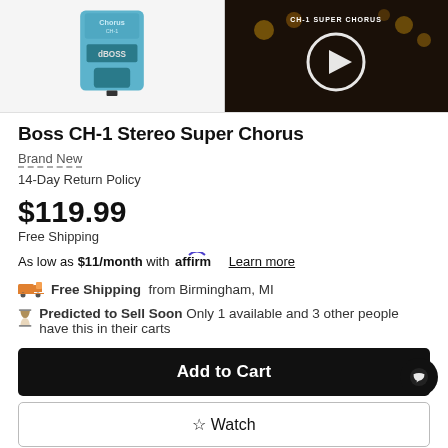[Figure (photo): Two product images side by side: left shows Boss CH-1 Super Chorus pedal on white background; right shows a dark video thumbnail with CH-1 Super Chorus text and a play button overlay.]
Boss CH-1 Stereo Super Chorus
Brand New
14-Day Return Policy
$119.99
Free Shipping
As low as $11/month with affirm Learn more
Free Shipping from Birmingham, MI
Predicted to Sell Soon Only 1 available and 3 other people have this in their carts
Add to Cart
Watch